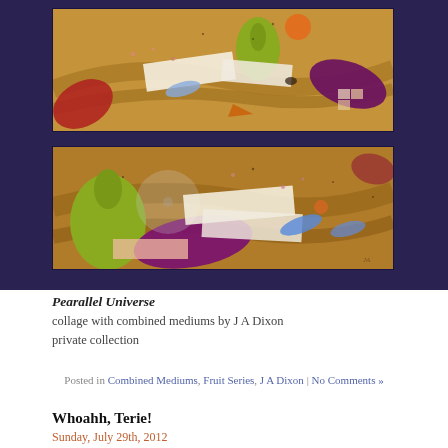[Figure (illustration): Two horizontal collage panels showing 'Pearallel Universe' artwork by J A Dixon — mixed media collage with leaves, pears, newspaper scraps, and colorful elements on a warm brown background, displayed against a dark purple/navy background]
Pearallel Universe
collage with combined mediums by J A Dixon
private collection
Posted in Combined Mediums, Fruit Series, J A Dixon | No Comments »
Whoahh, Terie!
Sunday, July 29th, 2012